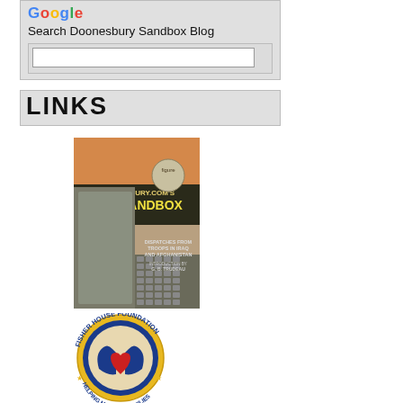[Figure (screenshot): Google search box with label 'Search Doonesbury Sandbox Blog' on grey background]
LINKS
[Figure (photo): Book cover: Doonesbury.com's The Sandbox - Dispatches from Troops in Iraq and Afghanistan, Introduction by G.B. Trudeau]
[Figure (logo): Fisher House Foundation logo - circular seal with blue and gold, hands cradling a red heart]